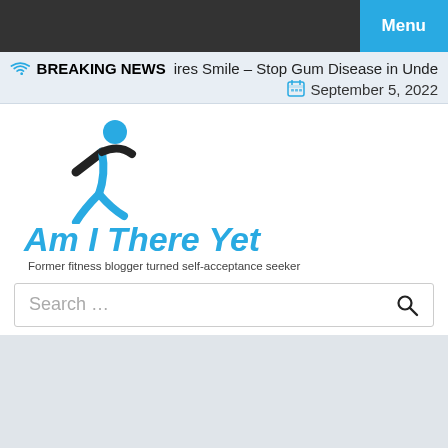Menu
BREAKING NEWS  ires Smile – Stop Gum Disease in Unde  September 5, 2022
[Figure (logo): Am I There Yet blog logo with running figure icon, site title in blue italic text, and tagline 'Former fitness blogger turned self-acceptance seeker']
Search …
Mobile Apps